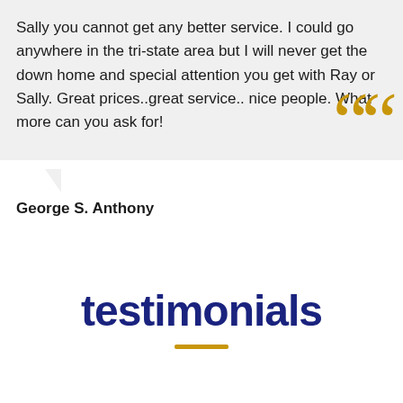Sally you cannot get any better service. I could go anywhere in the tri-state area but I will never get the down home and special attention you get with Ray or Sally. Great prices..great service.. nice people. What more can you ask for!
George S. Anthony
testimonials